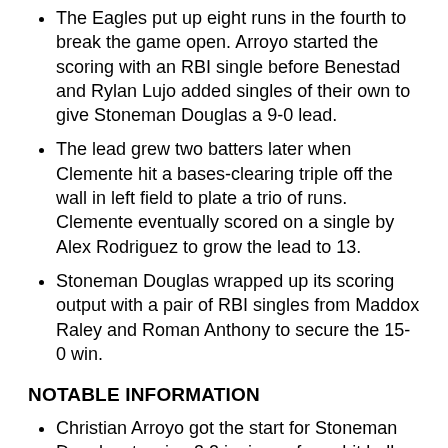The Eagles put up eight runs in the fourth to break the game open. Arroyo started the scoring with an RBI single before Benestad and Rylan Lujo added singles of their own to give Stoneman Douglas a 9-0 lead.
The lead grew two batters later when Clemente hit a bases-clearing triple off the wall in left field to plate a trio of runs. Clemente eventually scored on a single by Alex Rodriguez to grow the lead to 13.
Stoneman Douglas wrapped up its scoring output with a pair of RBI singles from Maddox Raley and Roman Anthony to secure the 15-0 win.
NOTABLE INFORMATION
Christian Arroyo got the start for Stoneman Douglas, tossing 3.2 innings of one-hit ball. The right-hander struck out four batters.
Stoneman Douglas swiped five bases in the win. The Eagles were not caught stealing once all game, going a perfect 5-for-5.
The Eagles drew seven walks in the game, compared to DH Conley's one.
Matthew McThin (1-for-3) and Riley Reagan (1-for-